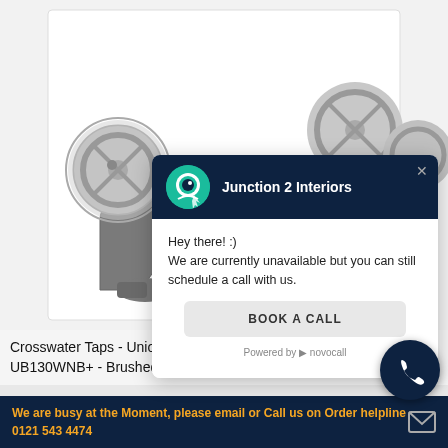[Figure (photo): Product photo of Crosswater Taps Union Basin 3 Hole Set in Brushed Black Chrome with industrial-style wheel handles, shown against white/gray background]
[Figure (screenshot): Chat popup overlay from Junction 2 Interiors via novocall. Header shows logo and company name on dark navy background. Body shows message: Hey there! :) We are currently unavailable but you can still schedule a call with us. Button: BOOK A CALL. Footer: Powered by novocall.]
Crosswater Taps - Union Basin 3 Hole Set - Brushed Black Chrome - UB130WNB+ - Brushed Black Chrome
We are busy at the Moment, please email or Call us on Order helpline 0121 543 4474